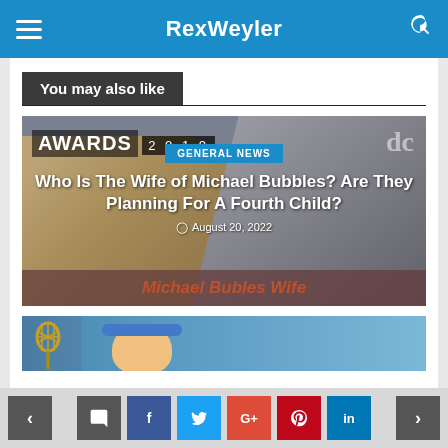RexWeyler
You may also like
[Figure (photo): Photo of a man in a suit and a blonde woman at an Awards 2010 event, with overlaid text: GENERAL NEWS label, article title 'Who Is The Wife of Michael Bubbles? Are They Planning For A Fourth Child?', date August 20, 2022, and caption strip 'Michael Bubles Wife']
[Figure (photo): Partial photo showing a tennis racket and a person with a blue headband, partially visible at the bottom of the page]